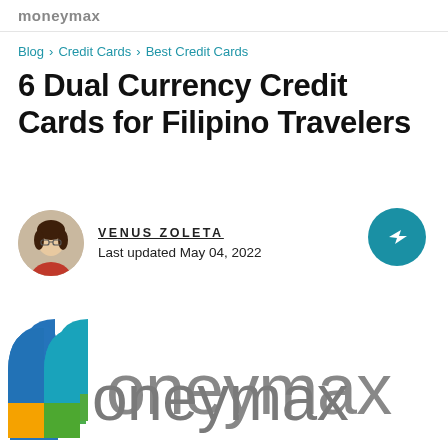moneymax
Blog > Credit Cards > Best Credit Cards
6 Dual Currency Credit Cards for Filipino Travelers
VENUS ZOLETA
Last updated May 04, 2022
[Figure (logo): Moneymax logo with colorful M icon and gray moneymax text]